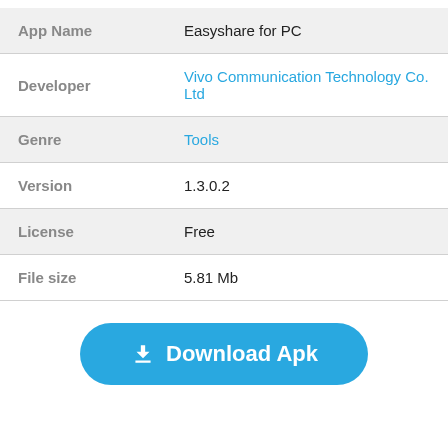| Field | Value |
| --- | --- |
| App Name | Easyshare for PC |
| Developer | Vivo Communication Technology Co. Ltd |
| Genre | Tools |
| Version | 1.3.0.2 |
| License | Free |
| File size | 5.81 Mb |
Download Apk